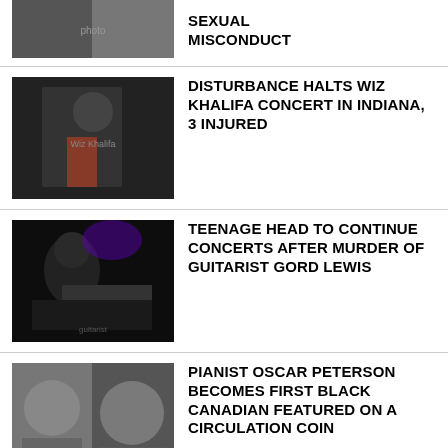[Figure (photo): Partial image of person at top, cropped]
SEXUAL MISCONDUCT
[Figure (photo): Wiz Khalifa at event in jacket and red shirt]
DISTURBANCE HALTS WIZ KHALIFA CONCERT IN INDIANA, 3 INJURED
[Figure (photo): guitarist performing on dark stage with purple lighting]
TEENAGE HEAD TO CONTINUE CONCERTS AFTER MURDER OF GUITARIST GORD LEWIS
[Figure (photo): Oscar Peterson pianist portrait]
PIANIST OSCAR PETERSON BECOMES FIRST BLACK CANADIAN FEATURED ON A CIRCULATION COIN
[Figure (photo): Partial dark image at bottom]
'HE EPITOMIZED